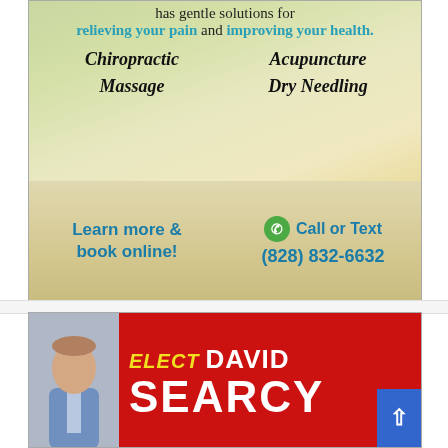[Figure (infographic): Chiropractic clinic advertisement with green/nature background showing services: Chiropractic, Acupuncture, Massage, Dry Needling. Bottom section has 'Learn more & book online!' and 'Call or Text (828) 832-6632']
[Figure (infographic): Political campaign advertisement for David Searcy, Republican Candidate for Sheriff of Watauga County. Shows candidate photo, red banner with name, and bio text: 'David brings more than 31 years of dedicated experience and leadership to our community. His latest achievement – the successful establishment of']